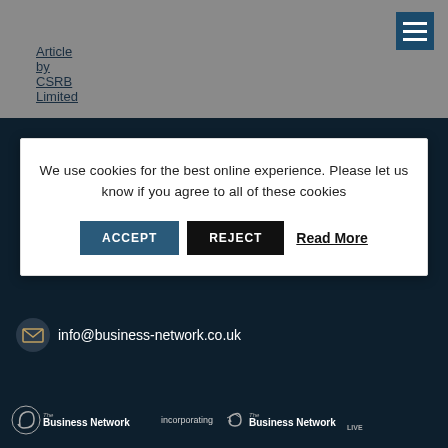Article by CSRB Limited
We use cookies for the best online experience. Please let us know if you agree to all of these cookies
ACCEPT | REJECT | Read More
info@business-network.co.uk
MEMBERS LOGIN
[Figure (logo): The Business Network logo incorporating The Business Network LIVE logo]